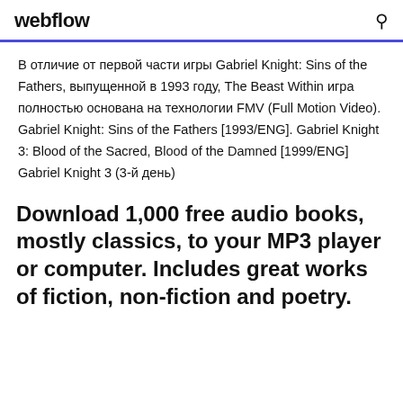webflow
В отличие от первой части игры Gabriel Knight: Sins of the Fathers, выпущенной в 1993 году, The Beast Within игра полностью основана на технологии FMV (Full Motion Video). Gabriel Knight: Sins of the Fathers [1993/ENG]. Gabriel Knight 3: Blood of the Sacred, Blood of the Damned [1999/ENG] Gabriel Knight 3 (3-й день)
Download 1,000 free audio books, mostly classics, to your MP3 player or computer. Includes great works of fiction, non-fiction and poetry.